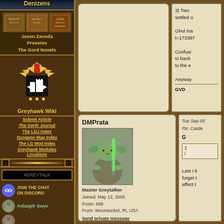[Figure (screenshot): Website sidebar with Greyhawk Denizens header image]
Denizens
[Figure (screenshot): Jason Zavoda Presents The Gord Novels book covers banner]
Jason Zavoda Presents
The Gord Novels
[Figure (illustration): Greyhawk Wiki heraldic crest/coat of arms]
Greyhawk Wiki
Submit Article
The Oerth Journal
The LGJ Index
Dungeon Mag Index
The LG Mod Index
Greyhawk Modules Locations
#GREYTALK
JOIN THE CHAT
ON DISCORD
Anlaugilr Gwyn
3) Two
settled o

Ghul ma
t=173387

Confusi
to back
to the e

Anyway

GVD
DMPrata
[Figure (photo): Avatar image of Yoda from Star Wars with lightsaber]
Master Greytalker
Joined: May 12, 2005
Posts: 898
From: Woonsocket, RI, USA
Send private message
Tue Sep 05
Re: Castle
G

2
i

Last I k
forget t
affect t